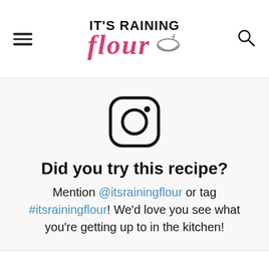IT'S RAINING flour
[Figure (logo): Instagram camera icon (rounded square with circle and dot)]
Did you try this recipe?
Mention @itsrainingflour or tag #itsrainingflour! We'd love you see what you're getting up to in the kitchen!